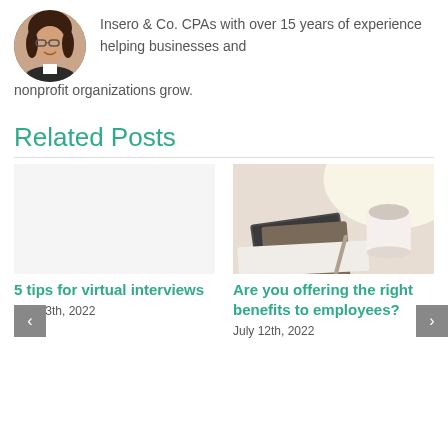[Figure (photo): Circular avatar photo of a woman with glasses and dark hair, smiling, wearing a blazer.]
Insero & Co. CPAs with over 15 years of experience helping businesses and nonprofit organizations grow.
Related Posts
[Figure (photo): Blurred photo of a notebook, pen, and coffee cup on a desk in warm light.]
5 tips for virtual interviews
July 13th, 2022
Are you offering the right benefits to employees?
July 12th, 2022